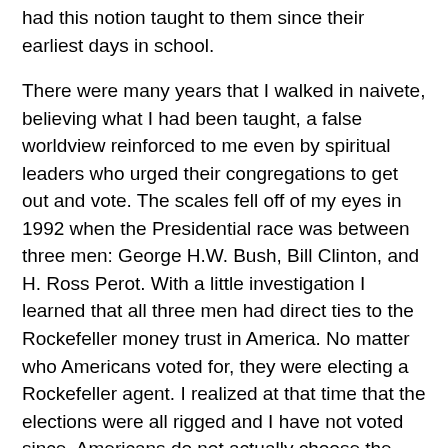had this notion taught to them since their earliest days in school.
There were many years that I walked in naivete, believing what I had been taught, a false worldview reinforced to me even by spiritual leaders who urged their congregations to get out and vote. The scales fell off of my eyes in 1992 when the Presidential race was between three men: George H.W. Bush, Bill Clinton, and H. Ross Perot. With a little investigation I learned that all three men had direct ties to the Rockefeller money trust in America. No matter who Americans voted for, they were electing a Rockefeller agent. I realized at that time that the elections were all rigged and I have not voted since. Americans do not actually choose the candidates they get to vote on. They are handpicked by the powers-that-be.
In the book Dragon Flood I wrote of the deception carried out by powerful men who have followed a carefully crafted plan of deception. These ruling elite convince the average citizen that the power to rule themselves is a reality guaranteed to them by the U.S. Constitution. The citizens are led to believe